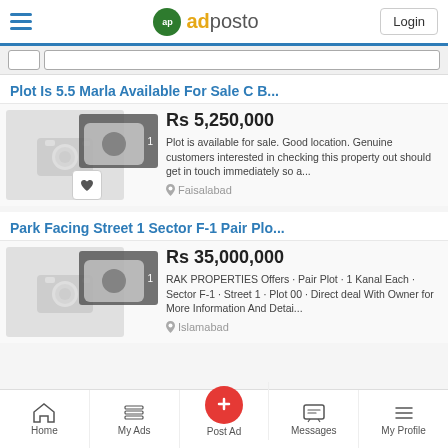adposto — Login
Plot Is 5.5 Marla Available For Sale C B...
[Figure (photo): Placeholder camera icon image for listing thumbnail]
Rs 5,250,000
Plot is available for sale. Good location. Genuine customers interested in checking this property out should get in touch immediately so a...
Faisalabad
Park Facing Street 1 Sector F-1 Pair Plo...
[Figure (photo): Placeholder camera icon image for listing thumbnail]
Rs 35,000,000
RAK PROPERTIES Offers · Pair Plot · 1 Kanal Each · Sector F-1 · Street 1 · Plot 00 · Direct deal With Owner for More Information And Detai...
Islamabad
Home | My Ads | Post Ad | Messages | My Profile